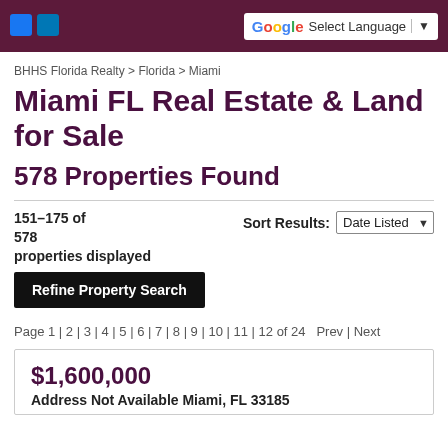BHHS Florida Realty header with Google Translate
BHHS Florida Realty > Florida > Miami
Miami FL Real Estate & Land for Sale
578 Properties Found
151–175 of 578 properties displayed
Sort Results: Date Listed
Refine Property Search
Page 1 | 2 | 3 | 4 | 5 | 6 | 7 | 8 | 9 | 10 | 11 | 12 of 24   Prev | Next
$1,600,000
Address Not Available Miami, FL 33185